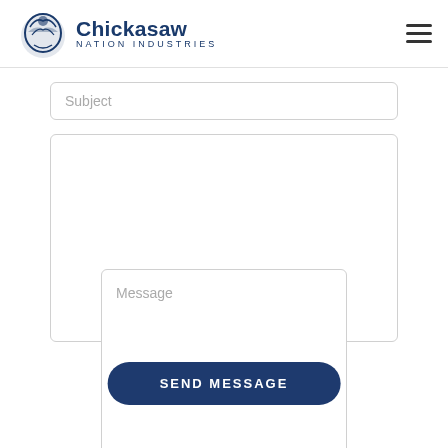Chickasaw Nation Industries
Subject
Message
SEND MESSAGE